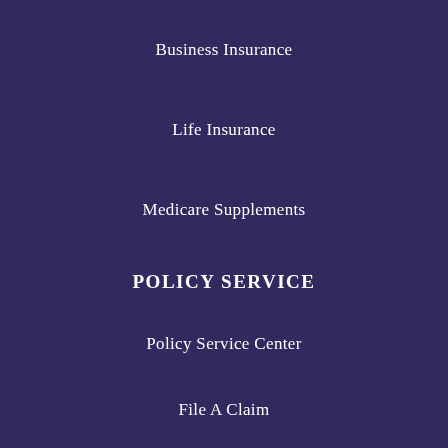Business Insurance
Life Insurance
Medicare Supplements
POLICY SERVICE
Policy Service Center
File A Claim